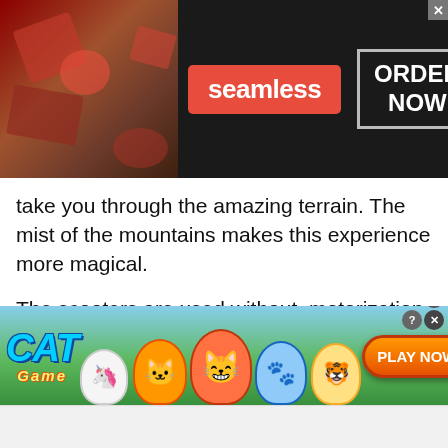[Figure (illustration): Seamless food delivery advertisement banner with pizza image on left, red Seamless logo badge in center, and ORDER NOW button in white bordered box on dark background.]
take you through the amazing terrain. The mist of the mountains makes this experience more magical.
The scooters are used without  motorization, which means that this is a quiet and eco-friendly activity for the families. THe  over 10-year-old children can use their own scooter. All tours have been guided to ensure the safety for the riders.
[Figure (illustration): Cat Game mobile game advertisement banner with cartoon cats, blue and green background, CAT game logo on left, PLAY NOW orange button on right.]